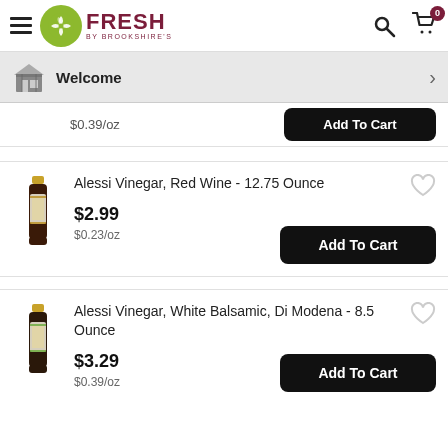Fresh by Brookshire's — navigation header with hamburger menu, logo, search icon, and cart (0 items)
Welcome
$0.39/oz — Add To Cart (partially visible product)
Alessi Vinegar, Red Wine - 12.75 Ounce
$2.99
$0.23/oz
Alessi Vinegar, White Balsamic, Di Modena - 8.5 Ounce
$3.29
$0.39/oz